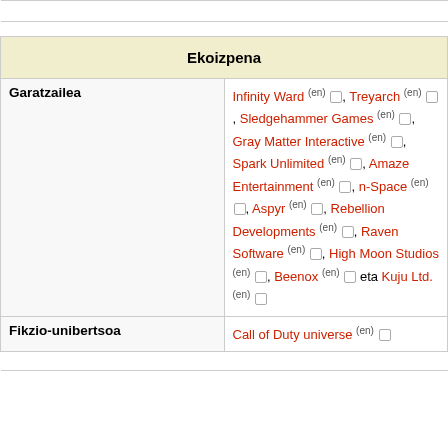| Ekoizpena |  |
| Garatzailea | Infinity Ward (en) ◇, Treyarch (en) ◇, Sledgehammer Games (en) ◇, Gray Matter Interactive (en) ◇, Spark Unlimited (en) ◇, Amaze Entertainment (en) ◇, n-Space (en) ◇, Aspyr (en) ◇, Rebellion Developments (en) ◇, Raven Software (en) ◇, High Moon Studios (en) ◇, Beenox (en) ◇ eta Kuju Ltd. (en) ◇ |
| Fikzio-unibertsoa | Call of Duty universe (en) ◇ |